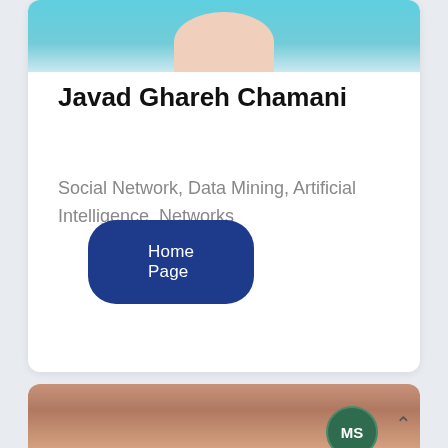[Figure (photo): Profile photo of Javad Ghareh Chamani, partially cropped at top, showing person in blue shirt]
Javad Ghareh Chamani
Social Network, Data Mining, Artificial Intelligence, Networks
Home Page
[Figure (photo): Second profile photo partially visible at bottom of page with MS badge overlay and up-arrow navigation button]